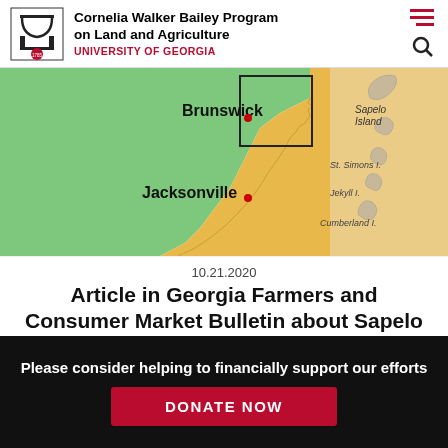Cornelia Walker Bailey Program on Land and Agriculture — UNIVERSITY OF GEORGIA
[Figure (map): Coastal map showing Brunswick and Jacksonville locations in green and gold regions, with Sapelo Island, St. Simons I., Jekyll I., and Cumberland I. labeled along the Georgia coast.]
10.21.2020
Article in Georgia Farmers and Consumer Market Bulletin about Sapelo Sugarcane Project
Please consider helping to financially support our efforts
DONATE NOW